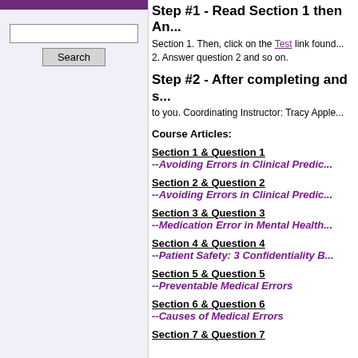Step #1 - Read Section 1 then An...
Section 1. Then, click on the Test link found... 2. Answer question 2 and so on.
Step #2 - After completing and s...
to you. Coordinating Instructor: Tracy Apple...
Course Articles:
Section 1 & Question 1
--Avoiding Errors in Clinical Predic...
Section 2 & Question 2
--Avoiding Errors in Clinical Predic...
Section 3 & Question 3
--Medication Error in Mental Health...
Section 4 & Question 4
--Patient Safety: 3 Confidentiality B...
Section 5 & Question 5
--Preventable Medical Errors
Section 6 & Question 6
--Causes of Medical Errors
Section 7 & Question 7